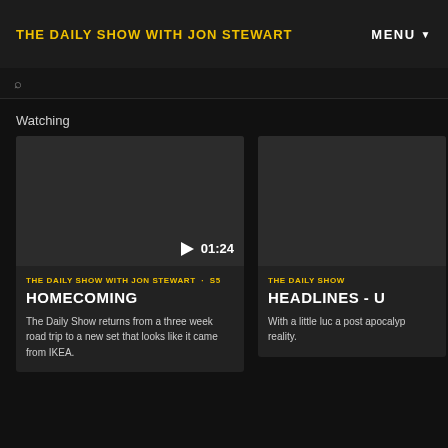THE DAILY SHOW WITH JON STEWART   MENU
Watching
[Figure (screenshot): Video thumbnail for Homecoming episode, dark background with play button and timestamp 01:24]
THE DAILY SHOW WITH JON STEWART · S5
HOMECOMING
The Daily Show returns from a three week road trip to a new set that looks like it came from IKEA.
[Figure (screenshot): Video thumbnail for Headlines episode, partially visible]
THE DAILY SHOW
HEADLINES - U
With a little luc a post apocalyp reality.